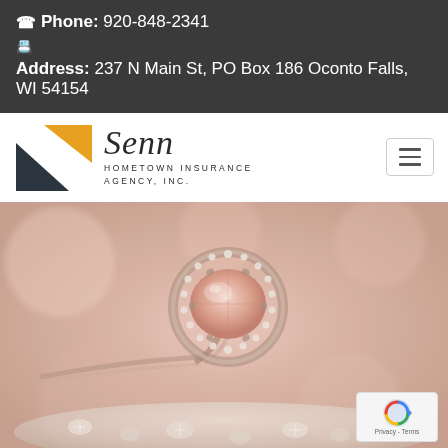Phone: 920-848-2341 Address: 237 N Main St, PO Box 186 Oconto Falls, WI 54154
[Figure (logo): Senn Hometown Insurance Agency, Inc. logo with orange and dark triangle shapes]
[Figure (photo): Close-up photograph of a diamond and morganite halo engagement ring surrounded by loose diamonds on a soft pink/beige blurred background]